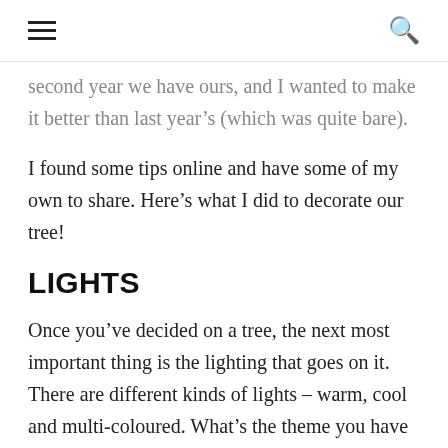[hamburger menu] [search icon]
second year we have ours, and I wanted to make it better than last year's (which was quite bare).
I found some tips online and have some of my own to share. Here’s what I did to decorate our tree!
LIGHTS
Once you’ve decided on a tree, the next most important thing is the lighting that goes on it. There are different kinds of lights – warm, cool and multi-coloured. What’s the theme you have in mind? Generally,